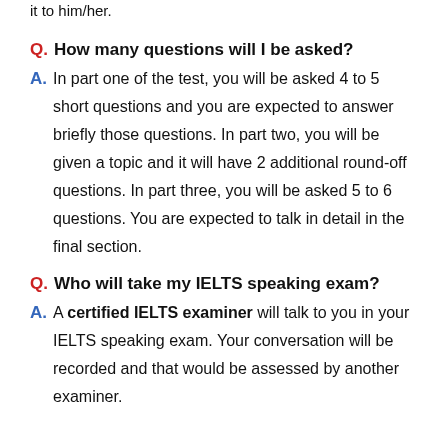it to him/her.
Q. How many questions will I be asked?
A. In part one of the test, you will be asked 4 to 5 short questions and you are expected to answer briefly those questions. In part two, you will be given a topic and it will have 2 additional round-off questions. In part three, you will be asked 5 to 6 questions. You are expected to talk in detail in the final section.
Q. Who will take my IELTS speaking exam?
A. A certified IELTS examiner will talk to you in your IELTS speaking exam. Your conversation will be recorded and that would be assessed by another examiner.